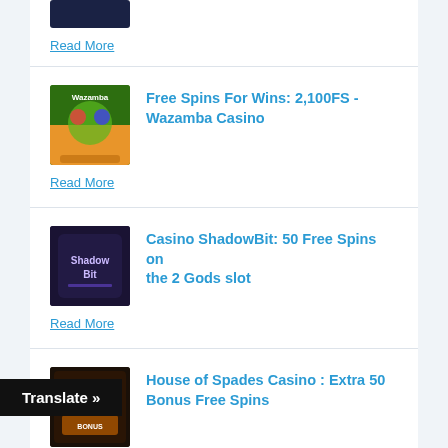Read More
Free Spins For Wins: 2,100FS - Wazamba Casino
Read More
Casino ShadowBit: 50 Free Spins on the 2 Gods slot
Read More
House of Spades Casino : Extra 50 Bonus Free Spins
Read More
ee Spins on Dr Fortuno from